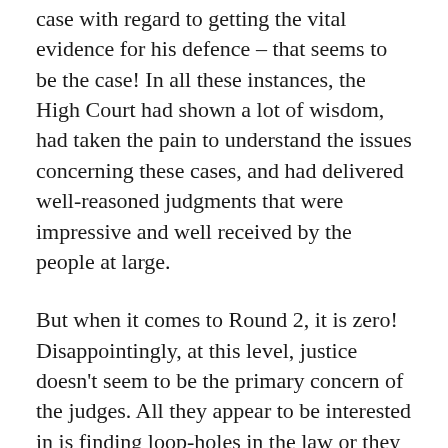case with regard to getting the vital evidence for his defence – that seems to be the case! In all these instances, the High Court had shown a lot of wisdom, had taken the pain to understand the issues concerning these cases, and had delivered well-reasoned judgments that were impressive and well received by the people at large.
But when it comes to Round 2, it is zero! Disappointingly, at this level, justice doesn't seem to be the primary concern of the judges. All they appear to be interested in is finding loop-holes in the law or they resort to technicalities to dismiss the cases.
The perception of the public is that court verdicts are predictable based on the panel of judges empanelled to hear cases. This is a tragic